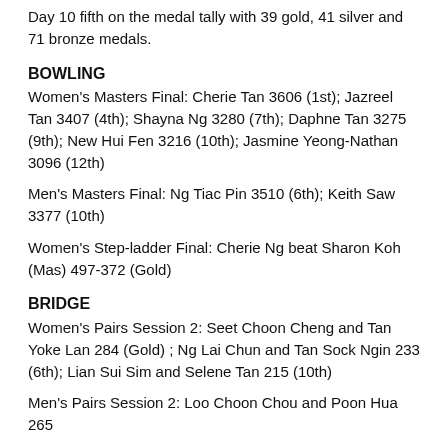Day 10 fifth on the medal tally with 39 gold, 41 silver and 71 bronze medals.
BOWLING
Women's Masters Final: Cherie Tan 3606 (1st); Jazreel Tan 3407 (4th); Shayna Ng 3280 (7th); Daphne Tan 3275 (9th); New Hui Fen 3216 (10th); Jasmine Yeong-Nathan 3096 (12th)
Men's Masters Final: Ng Tiac Pin 3510 (6th); Keith Saw 3377 (10th)
Women's Step-ladder Final: Cherie Ng beat Sharon Koh (Mas) 497-372 (Gold)
BRIDGE
Women's Pairs Session 2: Seet Choon Cheng and Tan Yoke Lan 284 (Gold) ; Ng Lai Chun and Tan Sock Ngin 233 (6th); Lian Sui Sim and Selene Tan 215 (10th)
Men's Pairs Session 2: Loo Choon Chou and Poon Hua 265 (3rd); Poon Hua Meng and Melvin Ng 257 (4th); Chua...